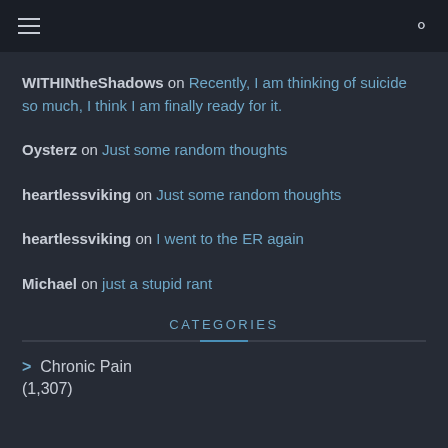WITHINtheShadows on Recently, I am thinking of suicide so much, I think I am finally ready for it.
Oysterz on Just some random thoughts
heartlessviking on Just some random thoughts
heartlessviking on I went to the ER again
Michael on just a stupid rant
CATEGORIES
> Chronic Pain (1,307)